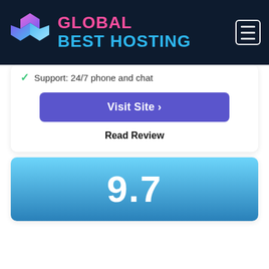[Figure (logo): Global Best Hosting logo with colorful hexagon icon and text in pink and blue on dark navy header bar with hamburger menu icon]
Support: 24/7 phone and chat
Visit Site >
Read Review
9.7
[Figure (logo): TMD Hosting logo - hexagonal blue badge with TMD text and 'Hosting THE MOST DEDICATED' tagline]
Free & Fast Account Migration